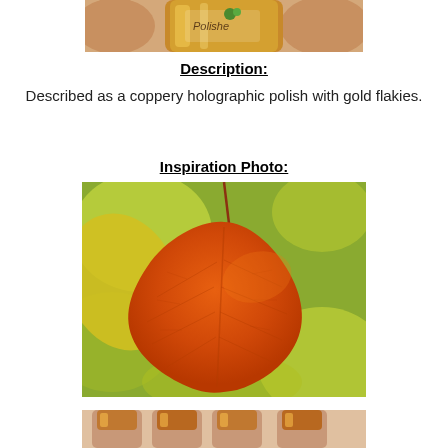[Figure (photo): Top partial photo of nail polish bottle being held, showing copper/gold glitter polish and partial label reading 'Polished']
Description:
Described as a coppery holographic polish with gold flakies.
Inspiration Photo:
[Figure (photo): Close-up photo of a bright orange autumn aspen leaf with visible veins, held by its stem against a blurred yellow-green bokeh background]
[Figure (photo): Bottom partial photo, appears to show painted fingernails with copper/gold holographic polish]